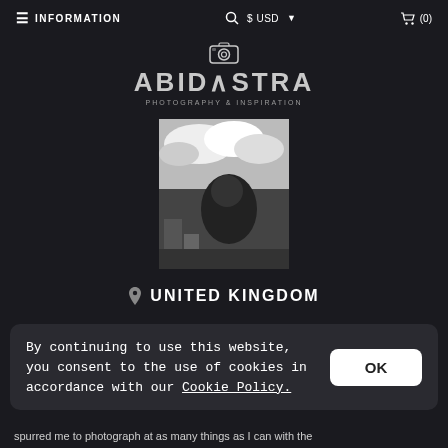≡ INFORMATION   🔍  $ USD ▾   🛒 (0)
[Figure (logo): Abidastra logo with camera icon above the text and subtitle 'PHOTOGRAPHY & INSPIRATION']
[Figure (photo): Black and white portrait photo of a person looking up at the sky with clouds in the background]
📍 UNITED KINGDOM
By continuing to use this website, you consent to the use of cookies in accordance with our Cookie Policy.
spurred me to photograph at as many things as I can with the